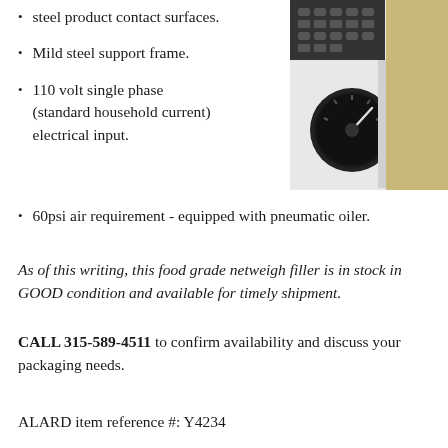steel product contact surfaces.
[Figure (photo): Close-up photo of a food grade netweigh filler showing a control panel with buttons and a large black dial/knob on a light-colored machine body with a golden frame.]
Mild steel support frame.
110 volt single phase (standard household current) electrical input.
60psi air requirement - equipped with pneumatic oiler.
As of this writing, this food grade netweigh filler is in stock in GOOD condition and available for timely shipment.
CALL 315-589-4511 to confirm availability and discuss your packaging needs.
ALARD item reference #: Y4234